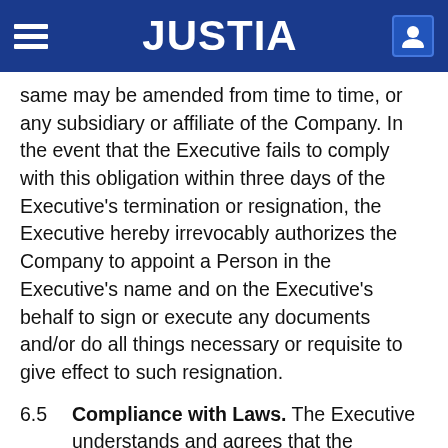JUSTIA
same may be amended from time to time, or any subsidiary or affiliate of the Company. In the event that the Executive fails to comply with this obligation within three days of the Executive's termination or resignation, the Executive hereby irrevocably authorizes the Company to appoint a Person in the Executive's name and on the Executive's behalf to sign or execute any documents and/or do all things necessary or requisite to give effect to such resignation.
6.5   Compliance with Laws. The Executive understands and agrees that the entitlements under this Section 6 are provided in full satisfaction of the Executive's entitlements to notice of termination, pay in lieu of notice, and severance pay, if any, under applicable